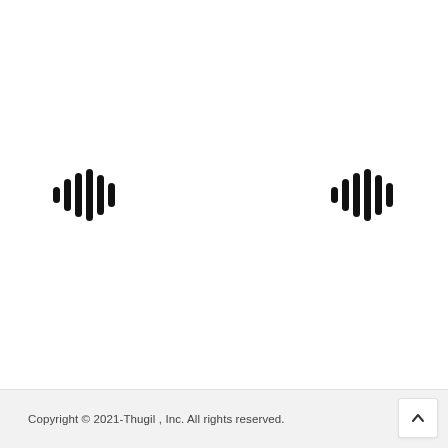[Figure (illustration): Two audio waveform / sound wave icons side by side on a white background, each consisting of several vertical bars of varying heights representing audio levels.]
Copyright © 2021-Thugil , Inc. All rights reserved.